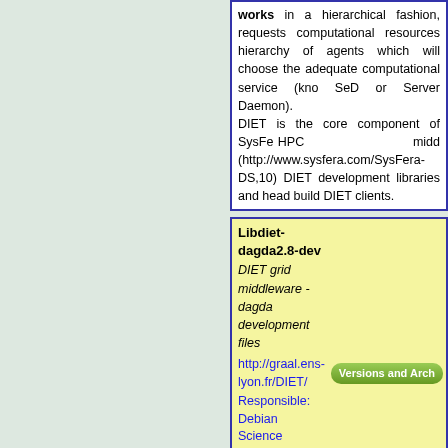works in a hierarchical fashion, requests computational resources hierarchy of agents which will choose the adequate computational service (know SeD or Server Daemon). DIET is the core component of SysFera HPC middleware (http://www.sysfera.com/SysFera-DS,10). DIET development libraries and headers build DIET clients.
Libdiet-dagda2.8-dev
DIET grid middleware - dagda development files
http://graal.ens-lyon.fr/DIET/
Responsible: Debian Science Maintainers (Haïkel Guémar)
DIET (Distributed Interactive Engineering Toolbox) is a middleware designed for HPC (High Performance Computing) heterogeneous and distributed environments (workstations, clusters, grids, clouds).